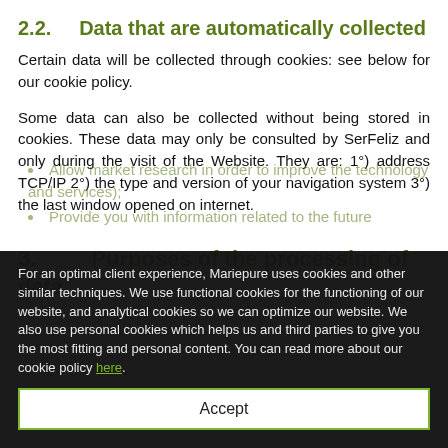2.2. Data that are automatically collected
Certain data will be collected through cookies: see below for our cookie policy.
Some data can also be collected without being stored in cookies. These data may only be consulted by SerFeliz and only during the visit of the Website. They are: 1°) address TCP/IP 2°) the type and version of your navigation system 3°) the last window opened on internet.
3. Purposes of the processing of data
Allow market research in order to improve the technology and services);
Provide you with information related to the future
For an optimal client experience, Mariepure uses cookies and other similar techniques. We use functional cookies for the functioning of our website, and analytical cookies so we can optimize our website. We also use personal cookies which helps us and third parties to give you the most fitting and personal content. You can read more about our cookie policy here.